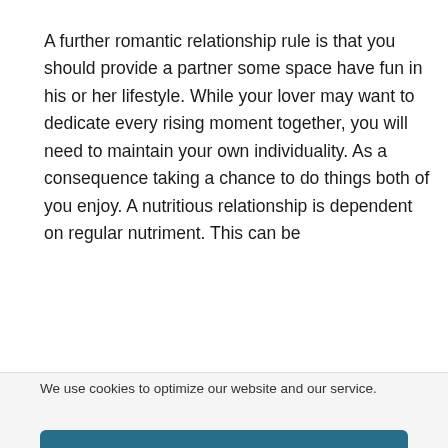A further romantic relationship rule is that you should provide a partner some space have fun in his or her lifestyle. While your lover may want to dedicate every rising moment together, you will need to maintain your own individuality. As a consequence taking a chance to do things both of you enjoy. A nutritious relationship is dependent on regular nutriment. This can be
We use cookies to optimize our website and our service.
Accept
Deny
Preferences
Cookie Policy   Légal